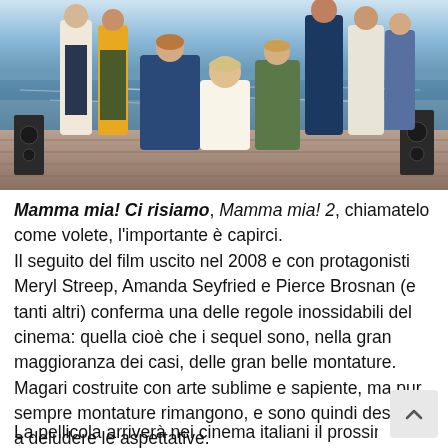[Figure (photo): Group photo of the Mamma Mia! Here We Go Again cast on a wooden dock by the sea, including multiple actors and actresses in colorful summer attire.]
Mamma mia! Ci risiamo, Mamma mia! 2, chiamatelo come volete, l'importante è capirci.
Il seguito del film uscito nel 2008 e con protagonisti Meryl Streep, Amanda Seyfried e Pierce Brosnan (e tanti altri) conferma una delle regole inossidabili del cinema: quella cioè che i sequel sono, nella gran maggioranza dei casi, delle gran belle montature. Magari costruite con arte sublime e sapiente, ma pur sempre montature rimangono, e sono quindi destinati a deludere le aspettative.
La pellicola arriverà nei cinema italiani il prossimo 6